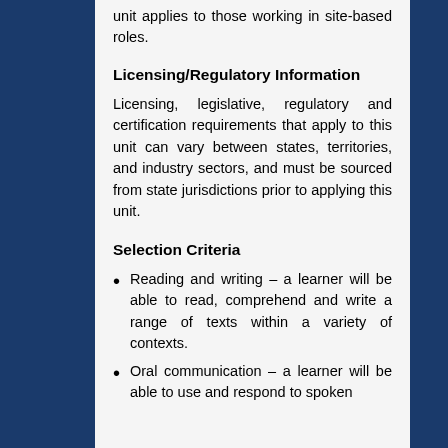unit applies to those working in site-based roles.
Licensing/Regulatory Information
Licensing, legislative, regulatory and certification requirements that apply to this unit can vary between states, territories, and industry sectors, and must be sourced from state jurisdictions prior to applying this unit.
Selection Criteria
Reading and writing – a learner will be able to read, comprehend and write a range of texts within a variety of contexts.
Oral communication – a learner will be able to use and respond to spoken